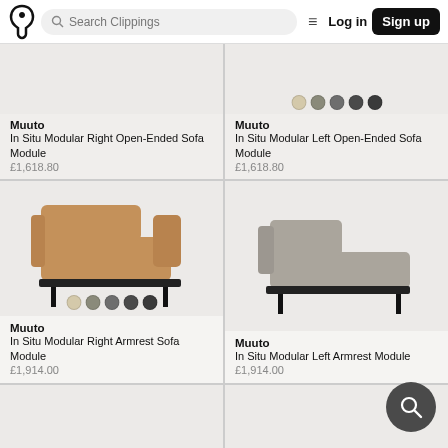Search Clippings | Log in | Sign up
[Figure (photo): Partial product card top-left: Muuto sofa module, cropped image. Brand: Muuto. Product: In Situ Modular Right Open-Ended Sofa Module. Price: £1,618.80]
[Figure (photo): Partial product card top-right: Muuto sofa module with color swatches. Brand: Muuto. Product: In Situ Modular Left Open-Ended Sofa Module. Price: £1,618.80]
[Figure (photo): Product card: Muuto In Situ Modular Right Armrest Sofa Module, tan/caramel fabric with black metal legs, color swatches shown. Price: £1,914.00]
[Figure (photo): Product card: Muuto In Situ Modular Left Armrest Sofa Module, grey fabric with black metal legs. Price: £1,914.00]
[Figure (photo): Partial product card bottom-left, cropped]
[Figure (photo): Partial product card bottom-right, cropped]